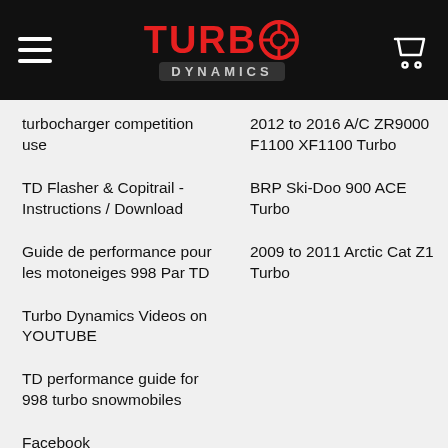[Figure (logo): Turbo Dynamics logo with red text on black header background, hamburger menu icon on left, cart icon on right]
turbocharger competition use
TD Flasher & Copitrail - Instructions / Download
Guide de performance pour les motoneiges 998 Par TD
Turbo Dynamics Videos on YOUTUBE
TD performance guide for 998 turbo snowmobiles
Facebook
Shipping & Returns
2012 to 2016 A/C ZR9000 F1100 XF1100 Turbo
BRP Ski-Doo 900 ACE Turbo
2009 to 2011 Arctic Cat Z1 Turbo